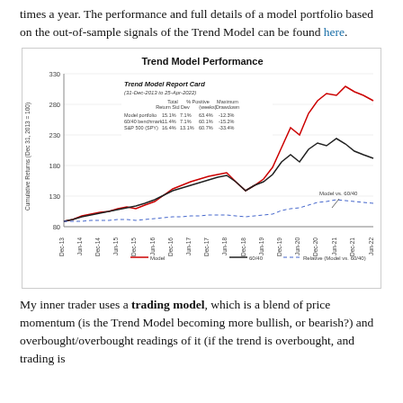times a year. The performance and full details of a model portfolio based on the out-of-sample signals of the Trend Model can be found here.
[Figure (line-chart): Line chart showing Trend Model Performance from Dec-13 to Jun-22. Three lines: Model (red), 60/40 benchmark (black), and Relative (Model vs. 60/40) (blue dashed). Y-axis from 80 to 330. Contains inset table: Trend Model Report Card (31-Dec-2013 to 25-Apr-2022) with columns Total Return, Std Dev, % Positive (weeks), Maximum Drawdown for Model portfolio (15.1%, 7.1%, 63.4%, -12.3%), 60/40 benchmark (11.4%, 7.1%, 60.1%, -15.2%), S&P 500 (SPY) (16.4%, 13.1%, 60.7%, -33.4%).]
My inner trader uses a trading model, which is a blend of price momentum (is the Trend Model becoming more bullish, or bearish?) and
overbought/overbought readings of it (if the trend is overbought, and trading is